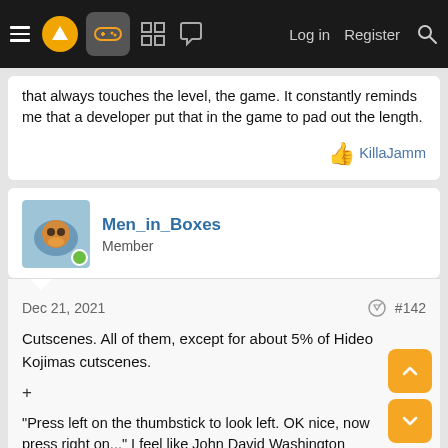≡  [logo]  [gamepad]  [grid]  [chat]     Log in   Register  [search]
that always touches the level, the game. It constantly reminds me that a developer put that in the game to pad out the length.
KillaJamm
Men_in_Boxes
Member
Dec 21, 2021
#142
Cutscenes. All of them, except for about 5% of Hideo Kojimas cutscenes.
+
"Press left on the thumbstick to look left. OK nice, now press right on..." I feel like John David Washington trying to bite that